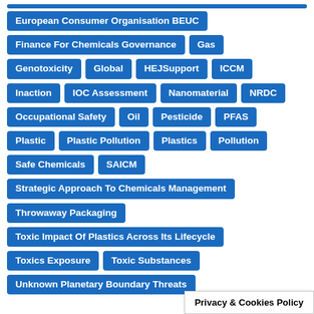European Consumer Organisation BEUC
Finance For Chemicals Governance
Gas
Genotoxicity
Global
HEJSupport
ICCM
Inaction
IOC Assessment
Nanomaterial
NRDC
Occupational Safety
Oil
Pesticide
PFAS
Plastic
Plastic Pollution
Plastics
Pollution
Safe Chemicals
SAICM
Strategic Approach To Chemicals Management
Throwaway Packaging
Toxic Impact Of Plastics Across Its Lifecycle
Toxics Exposure
Toxic Substances
Unknown Planetary Boundary Threats
Privacy & Cookies Policy